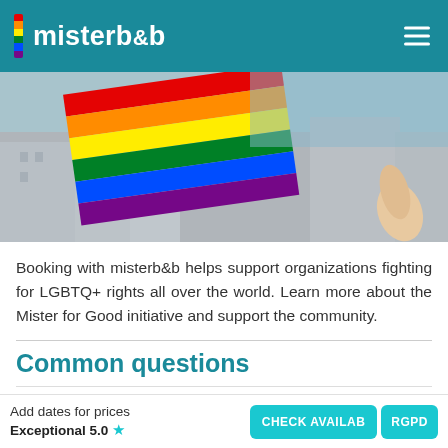misterb&b
[Figure (photo): A person holding a rainbow pride flag against a blurred urban background with buildings and blue sky.]
Booking with misterb&b helps support organizations fighting for LGBTQ+ rights all over the world. Learn more about the Mister for Good initiative and support the community.
Common questions
What if I have questions about the property before I book?
Add dates for prices | Exceptional 5.0 | CHECK AVAILABILITY | RGPD